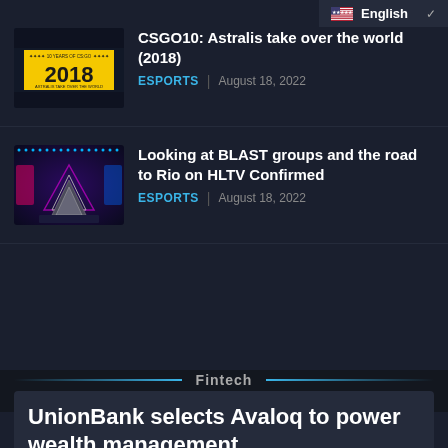English
CSGO10: Astralis take over the world (2018)
ESPORTS | August 18, 2022
[Figure (photo): Thumbnail image for CSGO10 article showing 2018 yellow and black graphic with '10 YEARS OF CS:GO 2018 ASTRALIS TAKE OVER THE WORLD' text]
Looking at BLAST groups and the road to Rio on HLTV Confirmed
ESPORTS | August 18, 2022
[Figure (photo): Thumbnail image showing BLAST Premier stage with triangular logo and colorful LED lights in blue, pink and purple]
Fintech
UnionBank selects Avaloq to power wealth management